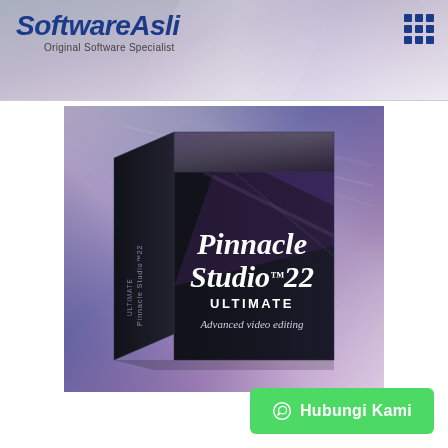SoftwareAsli - Original Software Specialist
[Figure (photo): Pinnacle Studio 22 Ultimate software box product image. Black box with purple/gradient background showing text: Pinnacle Studio 22 ULTIMATE - Advanced video editing]
Hubungi Kami